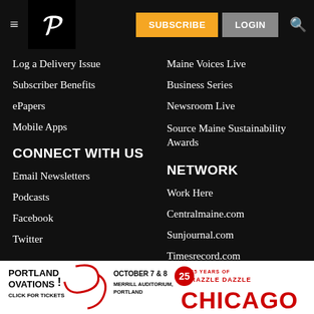Portland Press Herald — SUBSCRIBE | LOGIN
Log a Delivery Issue
Subscriber Benefits
ePapers
Mobile Apps
Maine Voices Live
Business Series
Newsroom Live
Source Maine Sustainability Awards
CONNECT WITH US
Email Newsletters
Podcasts
Facebook
Twitter
NETWORK
Work Here
Centralmaine.com
Sunjournal.com
Timesrecord.com
[Figure (advertisement): Portland Ovations ad — October 7 & 8, Merrill Auditorium, Portland. 25 Years of Razzle Dazzle — Chicago. Click for Tickets.]